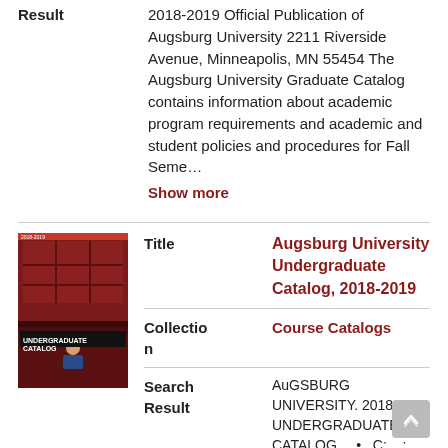Result
2018-2019 Official Publication of Augsburg University 2211 Riverside Avenue, Minneapolis, MN 55454 The Augsburg University Graduate Catalog contains information about academic program requirements and academic and student policies and procedures for Fall Seme…
Show more
[Figure (photo): Thumbnail photo of Augsburg University Undergraduate Catalog 2018-2019 cover, showing a building facade with a student sitting outside.]
Title
Augsburg University Undergraduate Catalog, 2018-2019
Collection
Course Catalogs
Search Result
AuGSBURG UNIVERSITY. 2018-2019 UNDERGRADUATE CATALOG ... • . C; ..,;,... 'fi. . ·- --.·. ,',<-'4. ·• •.. Introduction Undergraduate Catalog 2018-2019 Official Publication of Augsburg University 2211 Riverside